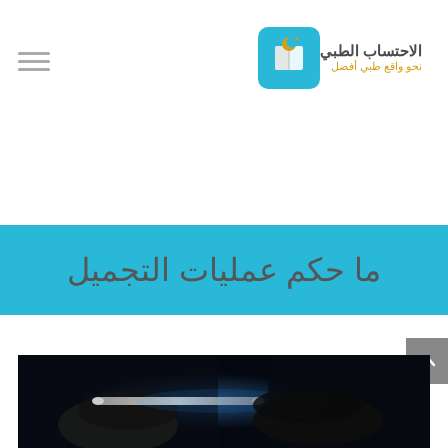[Figure (logo): Logo of Al-Ihtisab Al-Tibbi (Medical Accountability) website — blue rounded square icon with a book/moon symbol, Arabic text 'الاحتساب الطبي' in dark and 'نحو واقع طبي أفضل' in gold]
ما حكم عمليات التجميل
[Figure (photo): Dark surgical/medical procedure photo showing gloved hands holding a medical instrument (appears to be a tube/catheter) against a dark background with blue lighting]